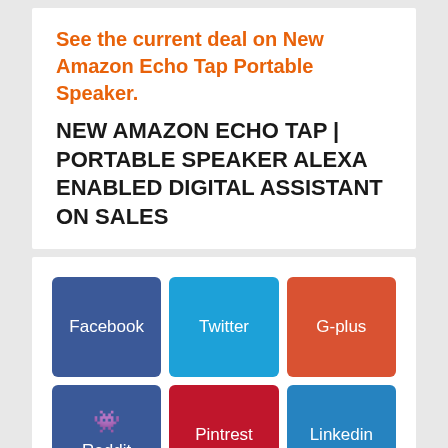See the current deal on New Amazon Echo Tap Portable Speaker.
NEW AMAZON ECHO TAP | PORTABLE SPEAKER ALEXA ENABLED DIGITAL ASSISTANT ON SALES
[Figure (infographic): Social sharing buttons grid: Facebook (blue-purple), Twitter (light blue), G-plus (red-orange), Reddit (blue with alien icon), Pintrest (dark red), Linkedin (blue)]